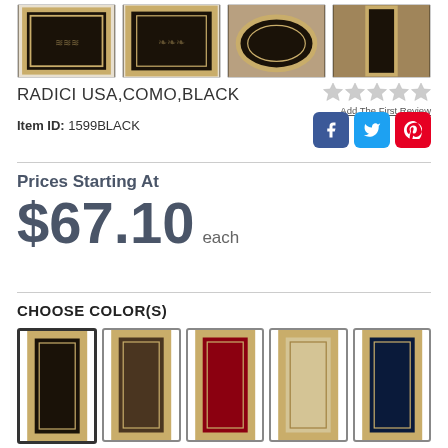[Figure (photo): Four thumbnail images of RADICI USA COMO BLACK rug in different arrangements: rectangular, rectangular with vine pattern, oval, and runner]
RADICI USA,COMO,BLACK
[Figure (other): Five gray star rating icons (unrated) with 'Add The First Review' link below]
Item ID: 1599BLACK
[Figure (other): Social share buttons: Facebook (blue), Twitter (light blue), Pinterest (red)]
Prices Starting At
$67.10 each
CHOOSE COLOR(S)
[Figure (photo): Five color swatch images of the rug: black, brown, red, beige, navy]